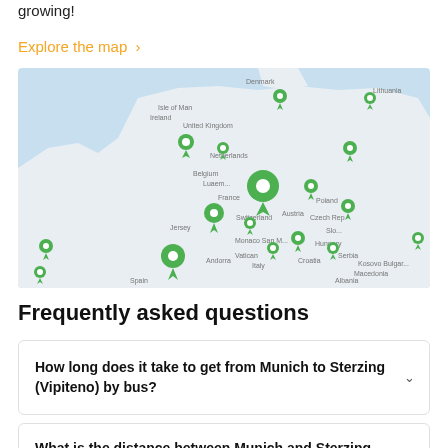growing!
Explore the map  >
[Figure (map): Map of Europe showing multiple green location pin markers over various countries including UK, Netherlands, Germany, France, Switzerland, Austria, Poland, Croatia, Serbia, and others on a light blue/grey map background.]
Frequently asked questions
How long does it take to get from Munich to Sterzing (Vipiteno) by bus?
What is the distance between Munich and Sterzing